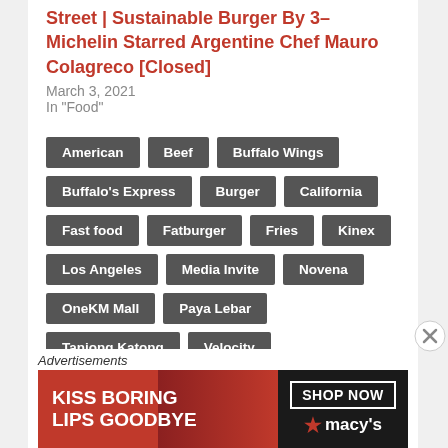Street | Sustainable Burger By 3-Michelin Starred Argentine Chef Mauro Colagreco [Closed]
March 3, 2021
In "Food"
American
Beef
Buffalo Wings
Buffalo's Express
Burger
California
Fast food
Fatburger
Fries
Kinex
Los Angeles
Media Invite
Novena
OneKM Mall
Paya Lebar
Tanjong Katong
Velocity
Advertisements
[Figure (photo): Macy's advertisement banner: KISS BORING LIPS GOODBYE with SHOP NOW button and Macy's logo]